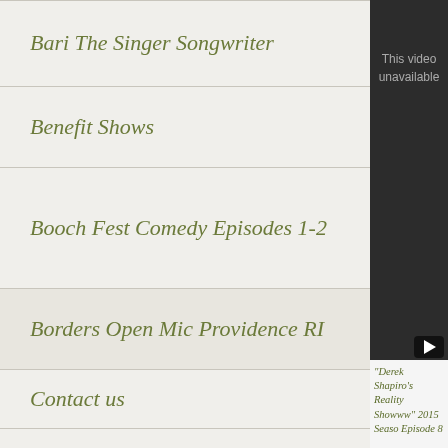Bari The Singer Songwriter
Benefit Shows
Booch Fest Comedy Episodes 1-2
Borders Open Mic Providence RI
Contact us
Countdown List
Derek Shapiro's Music Video Countdown Showw
[Figure (screenshot): Video player showing 'This video unavailable' message with play button. Below is text: "Derek Shapiro's Reality Showww" 2015 Season Episode 8]